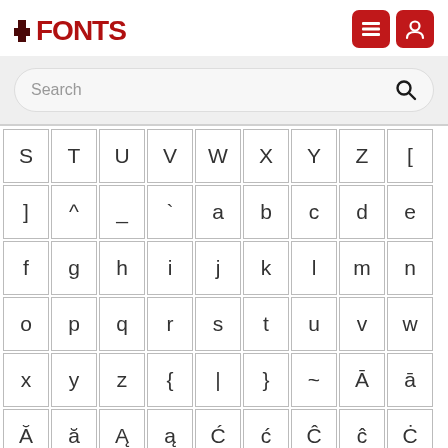[Figure (logo): FFONTS logo with red text and navigation icons (hamburger menu and user icon) on the top right]
Search
[Figure (screenshot): Character grid showing letters and special characters: row1: S T U V W X Y Z [, row2: ] ^ _ ` a b c d e, row3: f g h i j k l m n, row4: o p q r s t u v w, row5: x y z { | } ~ Ā ā, row6: Ă ă Ą ą Ć ć Ĉ ĉ Ċ]